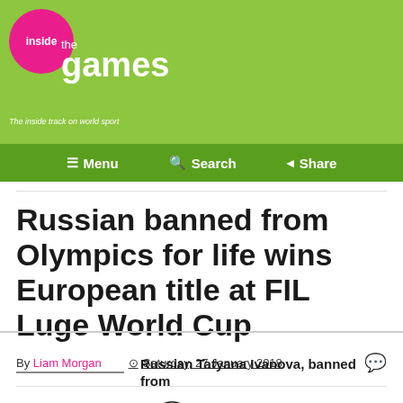[Figure (logo): Inside the Games logo with pink circle, green background, white text]
≡ Menu   🔍 Search   ◄ Share
Russian banned from Olympics for life wins European title at FIL Luge World Cup
By Liam Morgan   Saturday, 27 January 2018
Social sharing icons: Facebook, Twitter, WhatsApp, LinkedIn, Email, Share
Russian Tatyana Ivanova, banned from